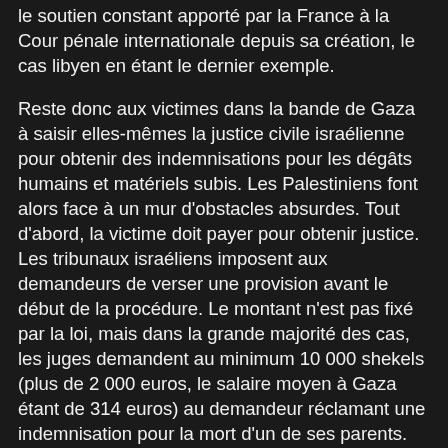le soutien constant apporté par la France à la Cour pénale internationale depuis sa création, le cas libyen en étant le dernier exemple.
Reste donc aux victimes dans la bande de Gaza à saisir elles-mêmes la justice civile israélienne pour obtenir des indemnisations pour les dégâts humains et matériels subis. Les Palestiniens font alors face à un mur d'obstacles absurdes. Tout d'abord, la victime doit payer pour obtenir justice. Les tribunaux israéliens imposent aux demandeurs de verser une provision avant le début de la procédure. Le montant n'est pas fixé par la loi, mais dans la grande majorité des cas, les juges demandent au minimum 10 000 shekels (plus de 2 000 euros, le salaire moyen à Gaza étant de 314 euros) au demandeur réclamant une indemnisation pour la mort d'un de ses parents. En règle générale, plus la violation faisant l'objet d'une plainte civile est grande, plus la provision réclamée à la victime est importante.
Par ailleurs, les avocats gazaouis ne sont pas autorisés à entrer en Israël pour représenter leurs clients auprès des tribunaux. Ils sont donc obligés de faire appel à des avocats